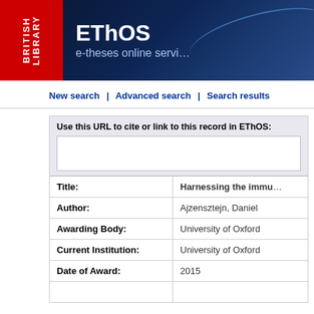[Figure (logo): British Library EThOS e-theses online service banner with red British Library logo on left and dark blue EThOS banner on right]
New search | Advanced search | Search results
Use this URL to cite or link to this record in EThOS:
| Field | Value |
| --- | --- |
| Title: | Harnessing the immu… |
| Author: | Ajzensztejn, Daniel |
| Awarding Body: | University of Oxford |
| Current Institution: | University of Oxford |
| Date of Award: | 2015 |